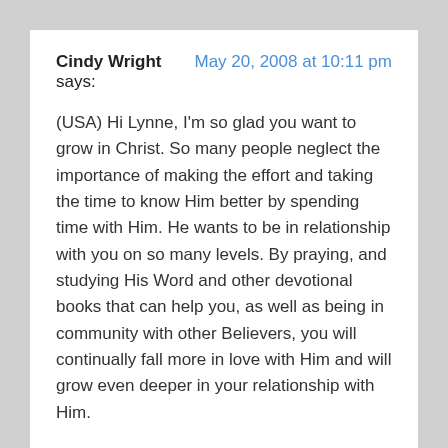Cindy Wright says:   May 20, 2008 at 10:11 pm
(USA) Hi Lynne, I'm so glad you want to grow in Christ. So many people neglect the importance of making the effort and taking the time to know Him better by spending time with Him. He wants to be in relationship with you on so many levels. By praying, and studying His Word and other devotional books that can help you, as well as being in community with other Believers, you will continually fall more in love with Him and will grow even deeper in your relationship with Him.
There are so many different devotional books that you can use in your quiet time with Him. I've used quite a few different ones throughout the years. Steve gets